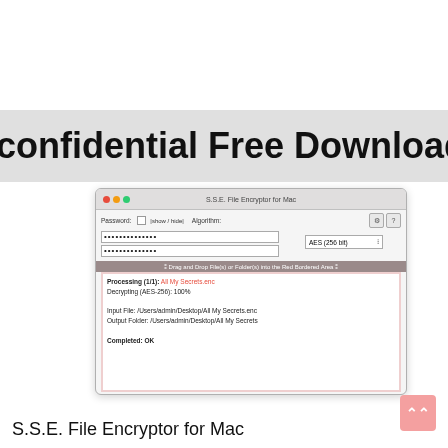confidential Free Downloads
[Figure (screenshot): Screenshot of S.S.E. File Encryptor for Mac application window showing password fields, AES-256 bit algorithm selection, and successful decryption output for 'All My Secrets.enc']
S.S.E. File Encryptor for Mac